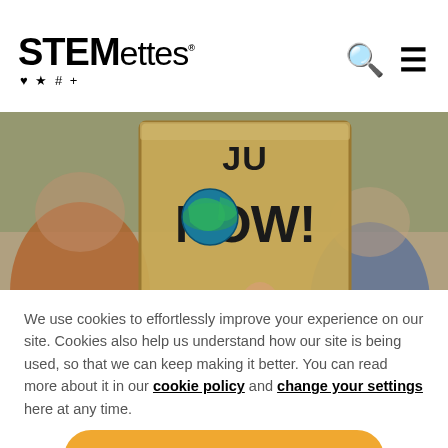STEMettes
[Figure (photo): Person holding a cardboard protest sign reading 'JUST NOW!' with an earth/globe illustration on it, blurred background of crowd]
We use cookies to effortlessly improve your experience on our site. Cookies also help us understand how our site is being used, so that we can keep making it better. You can read more about it in our cookie policy and change your settings here at any time.
Accept